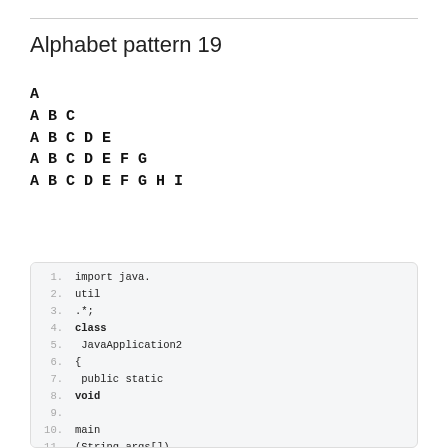Alphabet pattern 19
A
A B C
A B C D E
A B C D E F G
A B C D E F G H I
[Figure (screenshot): Java code snippet showing import java.util.*, class JavaApplication2 with main method, variables int i,j and int n=5, and for loops for generating alphabet pattern]